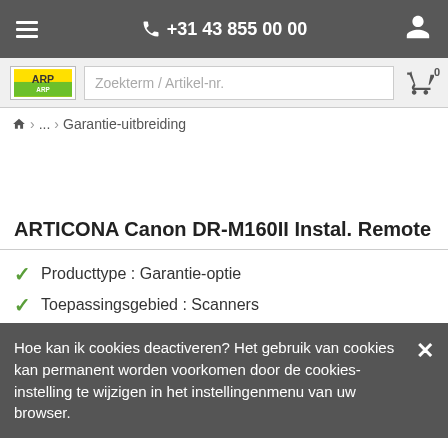+31 43 855 00 00
[Figure (screenshot): ARP logo in yellow and green]
Zoekterm / Artikel-nr.
0
... > Garantie-uitbreiding
ARTICONA Canon DR-M160II Instal. Remote
Producttype : Garantie-optie
Toepassingsgebied : Scanners
Hoe kan ik cookies deactiveren? Het gebruik van cookies kan permanent worden voorkomen door de cookies-instelling te wijzigen in het instellingenmenu van uw browser.